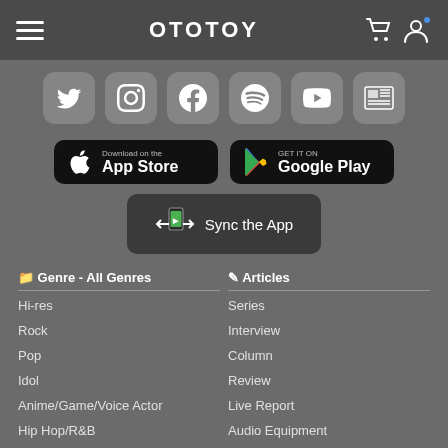OTOTOY
[Figure (infographic): Social media icons row: Twitter, Instagram, Facebook, Spotify, YouTube, News]
[Figure (infographic): Download on the App Store button and GET IT ON Google Play button]
[Figure (infographic): Sync the App button]
Genre - All Genres
Hi-res
Rock
Pop
Idol
Anime/Game/Voice Actor
Hip Hop/R&B
Dance/Electronic
Articles
Series
Interview
Column
Review
Live Report
Audio Equipment
注目のアーティスト